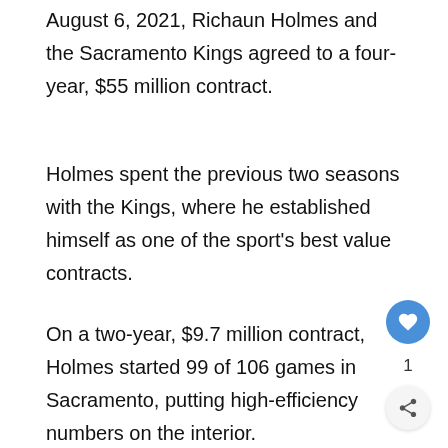August 6, 2021, Richaun Holmes and the Sacramento Kings agreed to a four-year, $55 million contract.
Holmes spent the previous two seasons with the Kings, where he established himself as one of the sport's best value contracts.
On a two-year, $9.7 million contract, Holmes started 99 of 106 games in Sacramento, putting high-efficiency numbers on the interior.